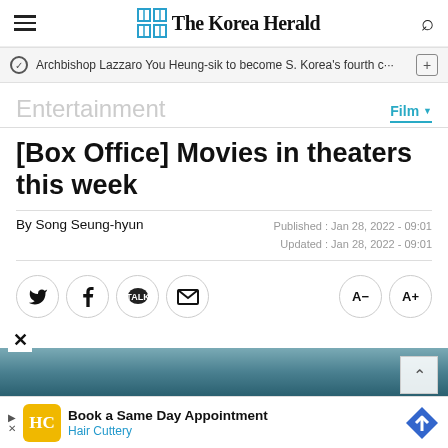The Korea Herald
Archbishop Lazzaro You Heung-sik to become S. Korea's fourth c…
Entertainment
Film
[Box Office] Movies in theaters this week
By Song Seung-hyun
Published: Jan 28, 2022 - 09:01
Updated: Jan 28, 2022 - 09:01
[Figure (screenshot): Social sharing buttons: Twitter, Facebook, KakaoTalk, Email, and font size controls A- and A+]
[Figure (photo): Partial image of a scene visible at bottom of page, blue-grey tones suggesting ocean or seascape]
Book a Same Day Appointment Hair Cuttery